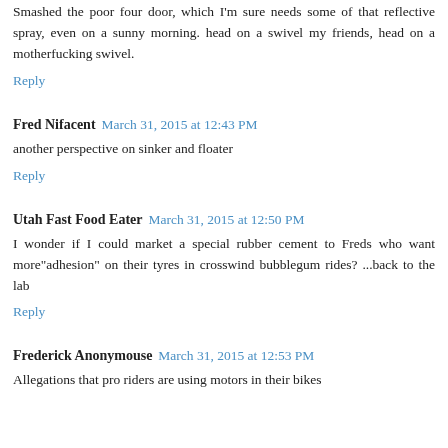Smashed the poor four door, which I'm sure needs some of that reflective spray, even on a sunny morning. head on a swivel my friends, head on a motherfucking swivel.
Reply
Fred Nifacent  March 31, 2015 at 12:43 PM
another perspective on sinker and floater
Reply
Utah Fast Food Eater  March 31, 2015 at 12:50 PM
I wonder if I could market a special rubber cement to Freds who want more"adhesion" on their tyres in crosswind bubblegum rides? ...back to the lab
Reply
Frederick Anonymouse  March 31, 2015 at 12:53 PM
Allegations that pro riders are using motors in their bikes